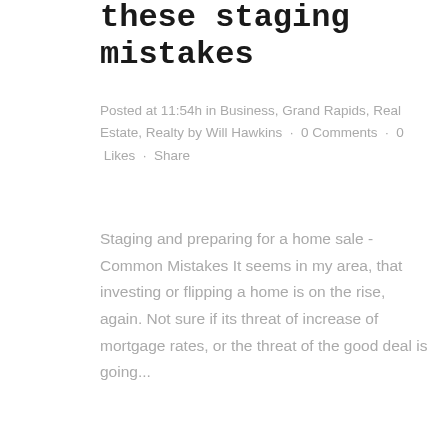these staging mistakes
Posted at 11:54h in Business, Grand Rapids, Real Estate, Realty by Will Hawkins · 0 Comments · 0 Likes · Share
Staging and preparing for a home sale - Common Mistakes It seems in my area, that investing or flipping a home is on the rise, again. Not sure if its threat of increase of mortgage rates, or the threat of the good deal is going...
READ MORE